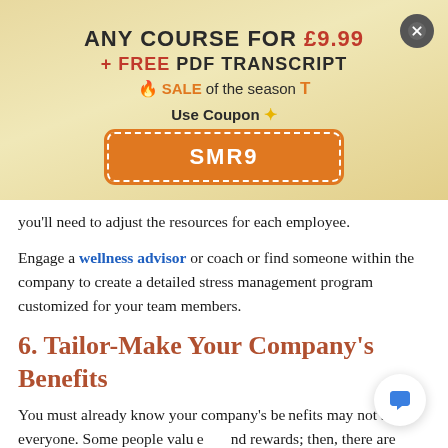[Figure (infographic): Promotional banner with gradient background. Text: ANY COURSE FOR £9.99 + FREE PDF TRANSCRIPT. SALE of the season T. Use Coupon. Coupon code button: SMR9. Close X button in top right.]
you'll need to adjust the resources for each employee.
Engage a wellness advisor or coach or find someone within the company to create a detailed stress management program customized for your team members.
6. Tailor-Make Your Company's Benefits
You must already know your company's benefits may not suit everyone. Some people value and rewards; then, there are others that value om and flexibility. Savvy CEOs know what their